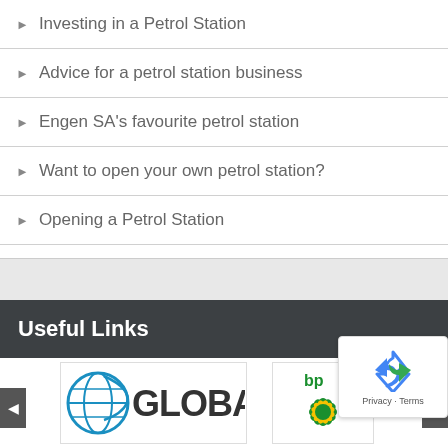Investing in a Petrol Station
Advice for a petrol station business
Engen SA's favourite petrol station
Want to open your own petrol station?
Opening a Petrol Station
Useful Links
[Figure (logo): Global logo — blue globe with stylized G and GLOBA text in bold dark letters]
[Figure (logo): BP logo — green and yellow sunflower with bp text in green]